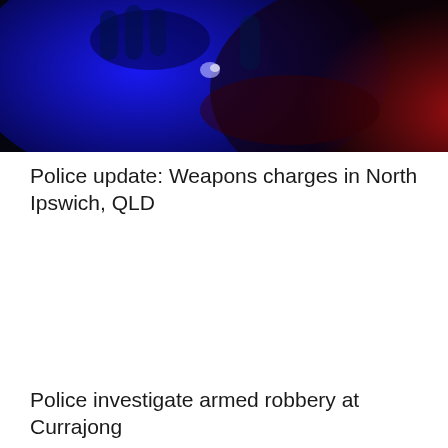[Figure (photo): Close-up photograph of hands under blue and red UV light, possibly a forensic or weapons-related image with dark background]
Police update: Weapons charges in North Ipswich, QLD
Police investigate armed robbery at Currajong